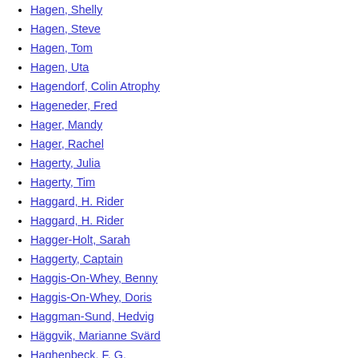Hagen, Shelly
Hagen, Steve
Hagen, Tom
Hagen, Uta
Hagendorf, Colin Atrophy
Hageneder, Fred
Hager, Mandy
Hager, Rachel
Hagerty, Julia
Hagerty, Tim
Haggard, H. Rider
Haggard, H. Rider
Hagger-Holt, Sarah
Haggerty, Captain
Haggis-On-Whey, Benny
Haggis-On-Whey, Doris
Haggman-Sund, Hedvig
Häggvik, Marianne Svärd
Haghenbeck, F. G.
Haghgoo, Sahar
Hagias, Matthew
Hagino, Makoto
Hagiwara, Masato
Hagler, Chris E.
Hagman, Larry